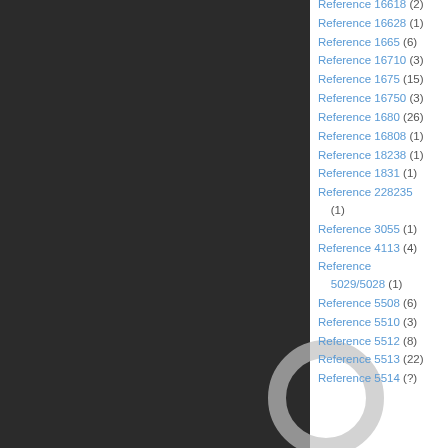[Figure (photo): Dark background image with a partial gray circle visible on the right side]
Reference 16618 (2)
Reference 16628 (1)
Reference 1665 (6)
Reference 16710 (3)
Reference 1675 (15)
Reference 16750 (3)
Reference 1680 (26)
Reference 16808 (1)
Reference 18238 (1)
Reference 1831 (1)
Reference 228235 (1)
Reference 3055 (1)
Reference 4113 (4)
Reference 5029/5028 (1)
Reference 5508 (6)
Reference 5510 (3)
Reference 5512 (8)
Reference 5513 (22)
Reference 5514 (?)